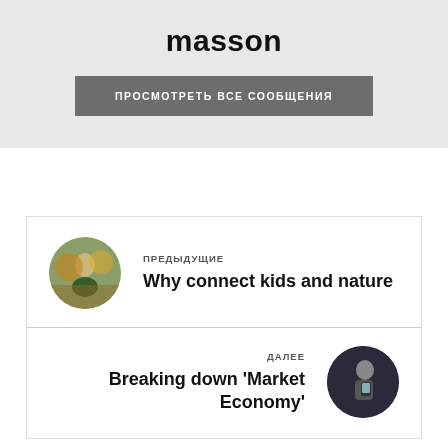masson
ПРОСМОТРЕТЬ ВСЕ СООБЩЕНИЯ
ПРЕДЫДУЩИЕ
Why connect kids and nature
ДАЛЕЕ
Breaking down 'Market Economy'
Оставить ответ